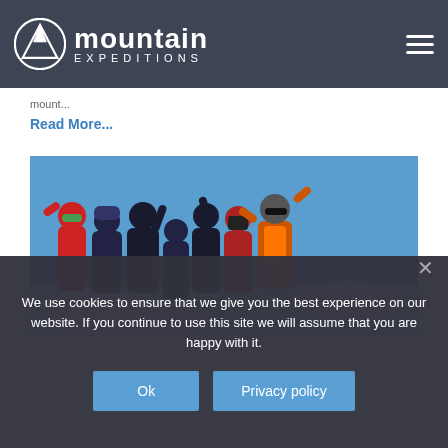mountain EXPEDITIONS
mount...
Read More...
[Figure (photo): Group of mountaineers celebrating at a mountain summit with arms raised, wearing colorful cold-weather gear, blue sky and clouds in background]
We use cookies to ensure that we give you the best experience on our website. If you continue to use this site we will assume that you are happy with it.